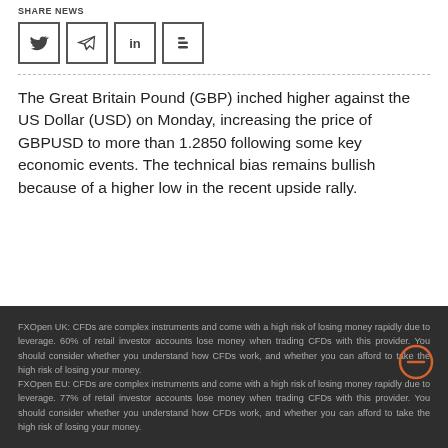SHARE NEWS
[Figure (other): Social sharing icons: Twitter, Telegram, LinkedIn, Blogger]
The Great Britain Pound (GBP) inched higher against the US Dollar (USD) on Monday, increasing the price of GBPUSD to more than 1.2850 following some key economic events. The technical bias remains bullish because of a higher low in the recent upside rally.
FXOpen UK: CFDs are complex instruments and come with a high risk of losing money rapidly due to leverage. 60% of retail investor accounts lose money when trading CFDs with this provider. You should consider whether you understand how CFDs work, and whether you can afford to take the high risk of losing your money. FXOpen EU: CFDs are complex instruments and come with a high risk of losing money rapidly due to leverage. 77% of retail investor accounts lose money when trading CFDs with this provider. You should consider whether you understand how CFDs work, and whether you can afford to take the high risk of losing your money.